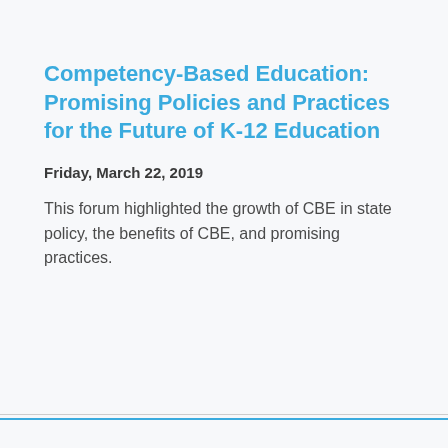Competency-Based Education: Promising Policies and Practices for the Future of K-12 Education
Friday, March 22, 2019
This forum highlighted the growth of CBE in state policy, the benefits of CBE, and promising practices.